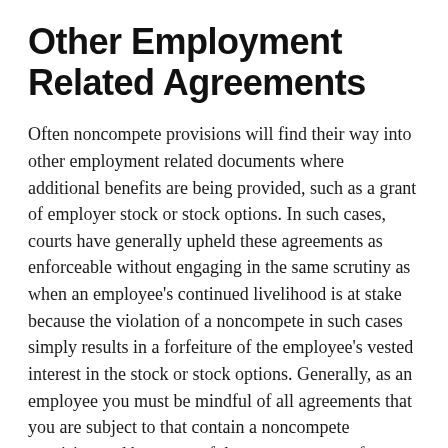Other Employment Related Agreements
Often noncompete provisions will find their way into other employment related documents where additional benefits are being provided, such as a grant of employer stock or stock options. In such cases, courts have generally upheld these agreements as enforceable without engaging in the same scrutiny as when an employee's continued livelihood is at stake because the violation of a noncompete in such cases simply results in a forfeiture of the employee's vested interest in the stock or stock options. Generally, as an employee you must be mindful of all agreements that you are subject to that contain a noncompete provision and be aware of the consequences of violating it.  In cases where you have to forfeit benefits because you accept employment with a competitor, you want to negotiate a harder bargain with your new employer to make up for the anticipated loss involved in forfeiting appreciated stock